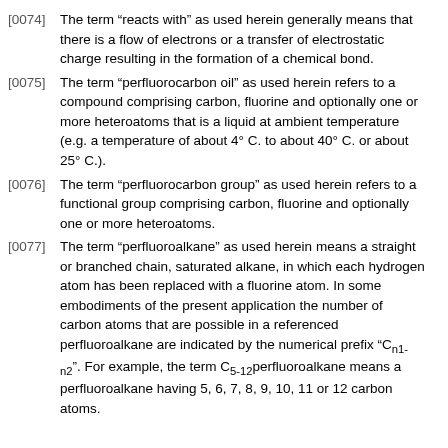[0074] The term “reacts with” as used herein generally means that there is a flow of electrons or a transfer of electrostatic charge resulting in the formation of a chemical bond.
[0075] The term “perfluorocarbon oil” as used herein refers to a compound comprising carbon, fluorine and optionally one or more heteroatoms that is a liquid at ambient temperature (e.g. a temperature of about 4° C. to about 40° C. or about 25° C.).
[0076] The term “perfluorocarbon group” as used herein refers to a functional group comprising carbon, fluorine and optionally one or more heteroatoms.
[0077] The term “perfluoroalkane” as used herein means a straight or branched chain, saturated alkane, in which each hydrogen atom has been replaced with a fluorine atom. In some embodiments of the present application the number of carbon atoms that are possible in a referenced perfluoroalkane are indicated by the numerical prefix “Cn1-n2”. For example, the term C5-12perfluoroalkane means a perfluoroalkane having 5, 6, 7, 8, 9, 10, 11 or 12 carbon atoms.